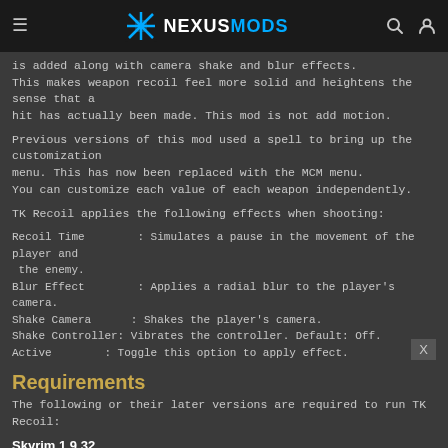NEXUSMODS
is added along with camera shake and blur effects.
This makes weapon recoil feel more solid and heightens the sense that a hit has actually been made. This mod is not add motion.
Previous versions of this mod used a spell to bring up the customization menu. This has now been replaced with the MCM menu.
You can customize each value of each weapon independently.
TK Recoil applies the following effects when shooting:
Recoil Time       : Simulates a pause in the movement of the player and the enemy.
Blur Effect       : Applies a radial blur to the player's camera.
Shake Camera      : Shakes the player's camera.
Shake Controller: Vibrates the controller. Default: Off.
Active        : Toggle this option to apply effect.
Requirements
The following or their later versions are required to run TK Recoil:
Skyrim 1.9.32
SKSE 1.7.3
SkyUI 3.1+